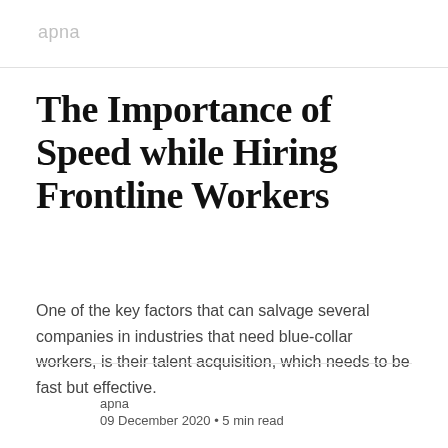apna
The Importance of Speed while Hiring Frontline Workers
One of the key factors that can salvage several companies in industries that need blue-collar workers, is their talent acquisition, which needs to be fast but effective.
apna
09 December 2020 • 5 min read